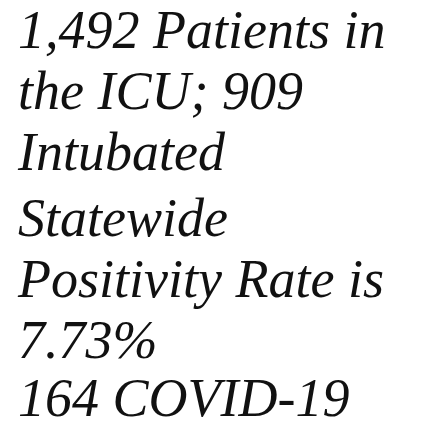1,492 Patients in the ICU; 909 Intubated
Statewide Positivity Rate is 7.73%
164 COVID-19